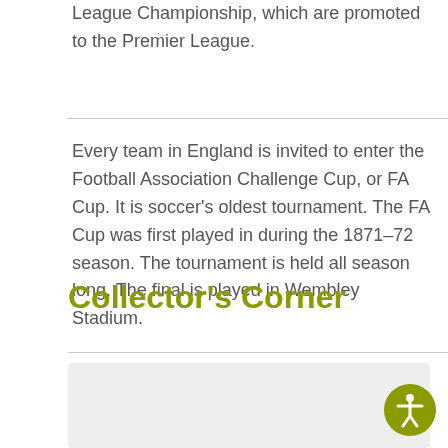League Championship, which are promoted to the Premier League.
Every team in England is invited to enter the Football Association Challenge Cup, or FA Cup. It is soccer's oldest tournament. The FA Cup was first played in during the 1871–72 season. The tournament is held all season long. The final is played in Wembley Stadium.
Collector's Corner
[Figure (other): Gray placeholder box below Collector's Corner section header]